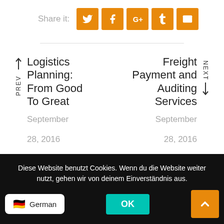Share it:
[Figure (infographic): Row of five orange square social share buttons: Twitter, Facebook, Google+, Tumblr, Email]
Logistics Planning: From Good To Great
September 28, 2016
Freight Payment and Auditing Services
September 28, 2016
Diese Website benutzt Cookies. Wenn du die Website weiter nutzt, gehen wir von deinem Einverständnis aus.
German
OK